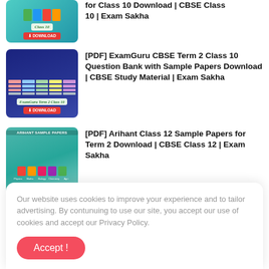[Figure (screenshot): Thumbnail for CBSE Class 10 download page showing books and download button]
for Class 10 Download | CBSE Class 10 | Exam Sakha
[Figure (screenshot): Thumbnail for ExamGuru CBSE Term 2 Class 10 with grid of colored cells and download button]
[PDF] ExamGuru CBSE Term 2 Class 10 Question Bank with Sample Papers Download | CBSE Study Material | Exam Sakha
[Figure (screenshot): Thumbnail for Arihant Class 12 Sample Papers with colorful subject books and download button]
[PDF] Arihant Class 12 Sample Papers for Term 2 Download | CBSE Class 12 | Exam Sakha
Our website uses cookies to improve your experience and to tailor advertising. By contunuing to use our site, you accept our use of cookies and accept our Privacy Policy.